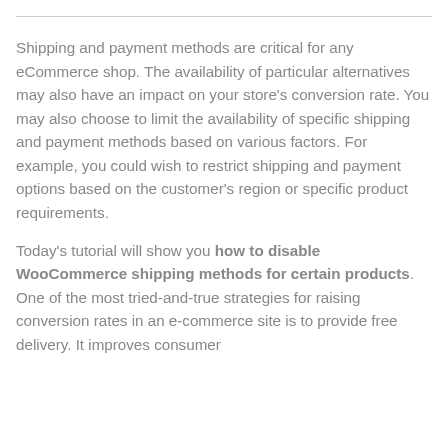Shipping and payment methods are critical for any eCommerce shop. The availability of particular alternatives may also have an impact on your store's conversion rate. You may also choose to limit the availability of specific shipping and payment methods based on various factors. For example, you could wish to restrict shipping and payment options based on the customer's region or specific product requirements.
Today's tutorial will show you how to disable WooCommerce shipping methods for certain products. One of the most tried-and-true strategies for raising conversion rates in an e-commerce site is to provide free delivery. It improves consumer